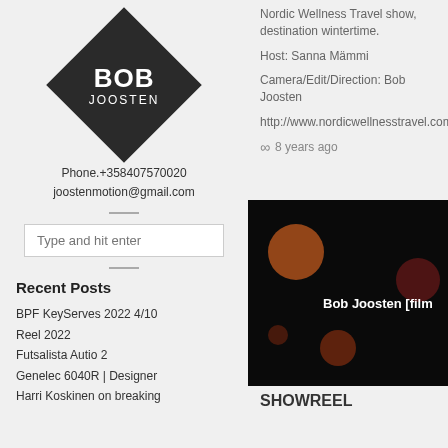[Figure (logo): Bob Joosten logo: white text BOB JOOSTEN on a black rotated diamond shape]
Phone.+358407570020
joostenmotion@gmail.com
Type and hit enter
Recent Posts
BPF KeyServes 2022 4/10
Reel 2022
Futsalista Autio 2
Genelec 6040R | Designer
Harri Koskinen on breaking
Nordic Wellness Travel show, destination wintertime.
Host: Sanna Mämmi
Camera/Edit/Direction: Bob Joosten
http://www.nordicwellnesstravel.com
8 years ago
[Figure (screenshot): Dark video thumbnail with orange bokeh circles and text 'Bob Joosten [film']
SHOWREEL